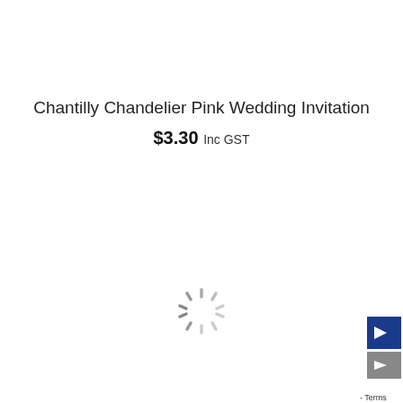Chantilly Chandelier Pink Wedding Invitation
$3.30 Inc GST
[Figure (other): Loading spinner animation icon (circular dashed spokes)]
[Figure (other): Blue arrow button and grey arrow button UI elements in bottom-right corner, with Terms label]